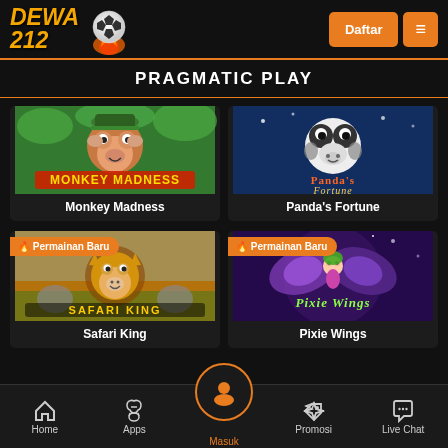[Figure (logo): Dewa 212 logo with flaming soccer ball]
PRAGMATIC PLAY
[Figure (screenshot): Monkey Madness slot game thumbnail]
Monkey Madness
[Figure (screenshot): Panda's Fortune slot game thumbnail]
Panda's Fortune
[Figure (screenshot): Safari King slot game thumbnail with Permainan Baru badge]
Safari King
[Figure (screenshot): Pixie Wings slot game thumbnail with Permainan Baru badge]
Pixie Wings
Home | Apps | Masuk | Promosi | Live Chat